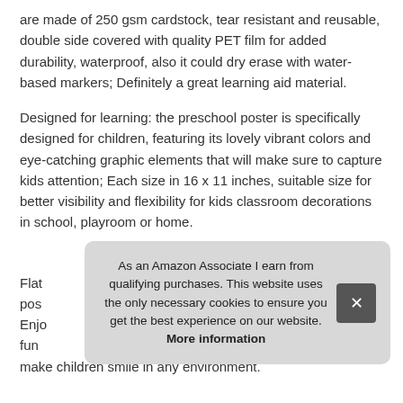are made of 250 gsm cardstock, tear resistant and reusable, double side covered with quality PET film for added durability, waterproof, also it could dry erase with water-based markers; Definitely a great learning aid material.
Designed for learning: the preschool poster is specifically designed for children, featuring its lovely vibrant colors and eye-catching graphic elements that will make sure to capture kids attention; Each size in 16 x 11 inches, suitable size for better visibility and flexibility for kids classroom decorations in school, playroom or home.
More information #ad
Flat... pos... Enjo... fun... make children smile in any environment.
As an Amazon Associate I earn from qualifying purchases. This website uses the only necessary cookies to ensure you get the best experience on our website. More information